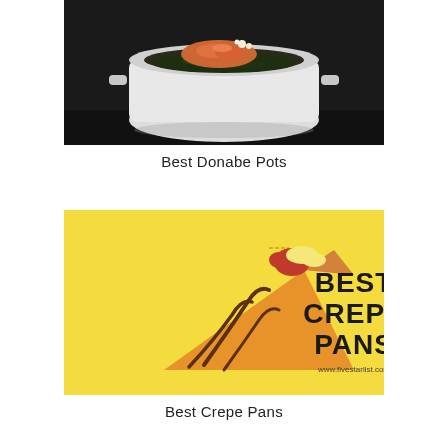[Figure (photo): A close-up photo of a donabe pot containing salmon/fish roe (uni or similar) on a bed of dark greens, in a white ceramic vessel, on a dark background.]
Best Donabe Pots
[Figure (illustration): A bright yellow promotional image showing an illustrated crepe cone with red strawberry and drizzled chocolate on the left, and bold text reading 'BEST CREPE PANS' on the right with website www.fivestarlist.com below.]
Best Crepe Pans